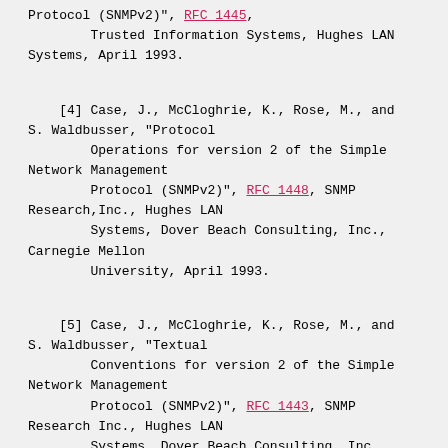Protocol (SNMPv2)", RFC 1445, Trusted Information Systems, Hughes LAN Systems, April 1993.
[4] Case, J., McCloghrie, K., Rose, M., and S. Waldbusser, "Protocol Operations for version 2 of the Simple Network Management Protocol (SNMPv2)", RFC 1448, SNMP Research,Inc., Hughes LAN Systems, Dover Beach Consulting, Inc., Carnegie Mellon University, April 1993.
[5] Case, J., McCloghrie, K., Rose, M., and S. Waldbusser, "Textual Conventions for version 2 of the Simple Network Management Protocol (SNMPv2)", RFC 1443, SNMP Research Inc., Hughes LAN Systems, Dover Beach Consulting, Inc., Carnegie Mellon University, April 1993.